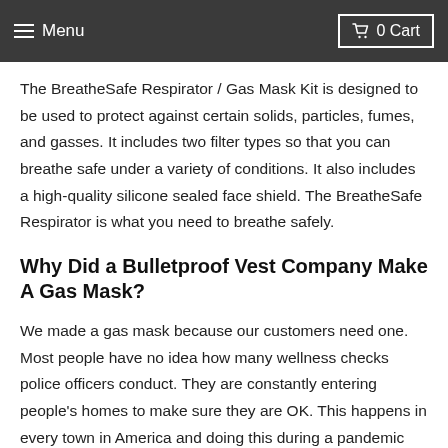Menu  0 Cart
The BreatheSafe Respirator / Gas Mask Kit is designed to be used to protect against certain solids, particles, fumes, and gasses. It includes two filter types so that you can breathe safe under a variety of conditions. It also includes a high-quality silicone sealed face shield. The BreatheSafe Respirator is what you need to breathe safely.
Why Did a Bulletproof Vest Company Make A Gas Mask?
We made a gas mask because our customers need one. Most people have no idea how many wellness checks police officers conduct. They are constantly entering people's homes to make sure they are OK. This happens in every town in America and doing this during a pandemic puts our first responders in